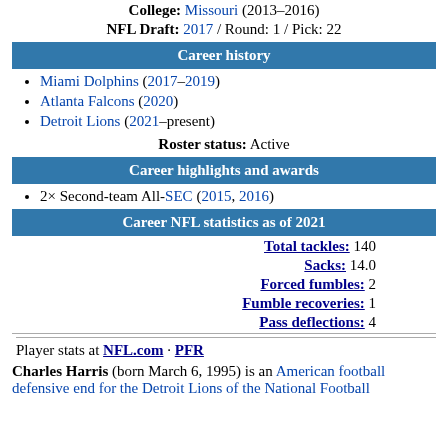College: Missouri (2013–2016)
NFL Draft: 2017 / Round: 1 / Pick: 22
Career history
Miami Dolphins (2017–2019)
Atlanta Falcons (2020)
Detroit Lions (2021–present)
Roster status: Active
Career highlights and awards
2× Second-team All-SEC (2015, 2016)
Career NFL statistics as of 2021
Total tackles: 140
Sacks: 14.0
Forced fumbles: 2
Fumble recoveries: 1
Pass deflections: 4
Player stats at NFL.com · PFR
Charles Harris (born March 6, 1995) is an American football defensive end for the Detroit Lions of the National Football League.